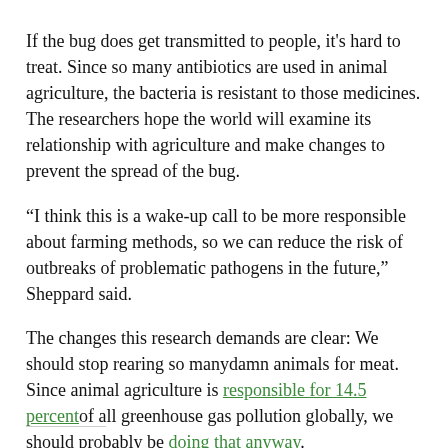If the bug does get transmitted to people, it's hard to treat. Since so many antibiotics are used in animal agriculture, the bacteria is resistant to those medicines. The researchers hope the world will examine its relationship with agriculture and make changes to prevent the spread of the bug.
“I think this is a wake-up call to be more responsible about farming methods, so we can reduce the risk of outbreaks of problematic pathogens in the future,” Sheppard said.
The changes this research demands are clear: We should stop rearing so manydamn animals for meat. Since animal agriculture is responsible for 14.5 percent of all greenhouse gas pollution globally, we should probably be doing that anyway.
source: gizmodo.com by Dharna Noor